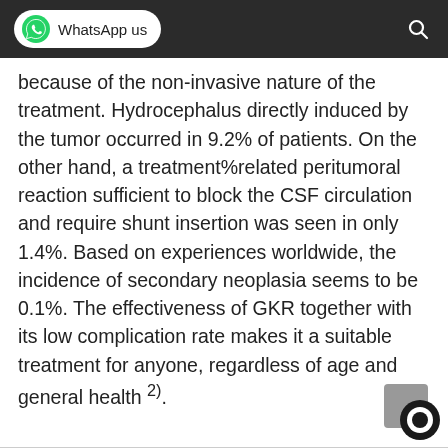WhatsApp us
because of the non-invasive nature of the treatment. Hydrocephalus directly induced by the tumor occurred in 9.2% of patients. On the other hand, a treatment%related peritumoral reaction sufficient to block the CSF circulation and require shunt insertion was seen in only 1.4%. Based on experiences worldwide, the incidence of secondary neoplasia seems to be 0.1%. The effectiveness of GKR together with its low complication rate makes it a suitable treatment for anyone, regardless of age and general health 2).